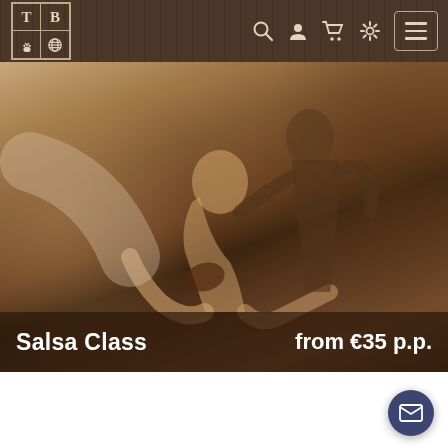[Figure (screenshot): Navigation bar with TB logo (feet and globe icons), search, user, cart, settings icons, and hamburger menu button on dark wood-textured background]
[Figure (photo): Sepia-toned photo of a couple dancing salsa — woman in dancing pose being dipped by male partner, dark atmospheric background]
Salsa Class
from €35 p.p.
[Figure (other): Dark blue circular chat/email button in bottom-right corner with envelope icon]